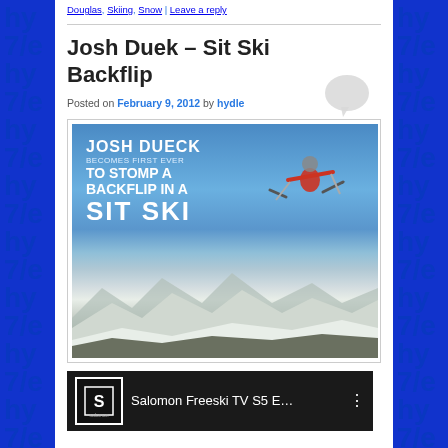Douglas, Skiing, Snow | Leave a reply
Josh Duek – Sit Ski Backflip
Posted on February 9, 2012 by hydle
[Figure (photo): Josh Dueck performing a backflip in a sit ski over snowy mountains. Text overlay reads: JOSH DUECK BECOMES FIRST EVER TO STOMP A BACKFLIP IN A SIT SKI]
[Figure (screenshot): Video thumbnail showing Salomon Freeski TV S5 E... with Salomon logo and menu icon]